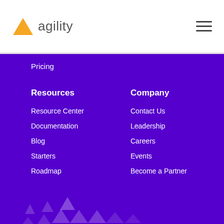agility
Pricing
Resources
Resource Center
Documentation
Blog
Starters
Roadmap
Company
Contact Us
Leadership
Careers
Events
Become a Partner
[Figure (logo): Agility logo with orange triangle and grey text, plus hamburger menu icon]